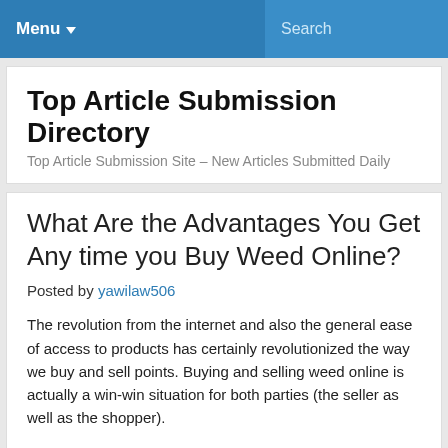Menu ▾  Search
Top Article Submission Directory
Top Article Submission Site – New Articles Submitted Daily
What Are the Advantages You Get Any time you Buy Weed Online?
Posted by yawilaw506
The revolution from the internet and also the general ease of access to products has certainly revolutionized the way we buy and sell points. Buying and selling weed online is actually a win-win situation for both parties (the seller as well as the shopper).
For those who wish, by way of example, to obtain kush online, all you need to do is check which online dispensaries are reliable, provide locally, and at rabbit speed. You might obtain it astounding that more and more canna customers favor to buy weed online today. Get a lot more facts about Medical Marijuana For sale online